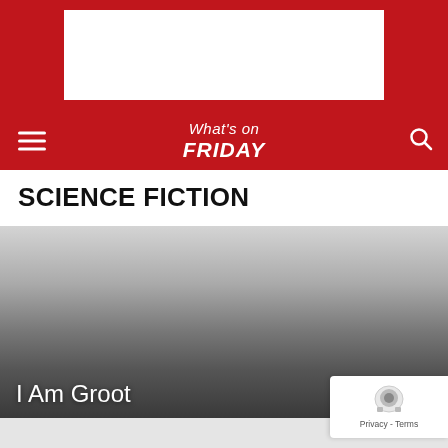[Figure (screenshot): Red header banner with white advertisement box placeholder]
What's on FRIDAY
SCIENCE FICTION
[Figure (photo): Gradient card image from light gray to dark gray, representing a sci-fi show thumbnail]
I Am Groot
[Figure (other): reCAPTCHA badge with robot icon and Privacy - Terms text]